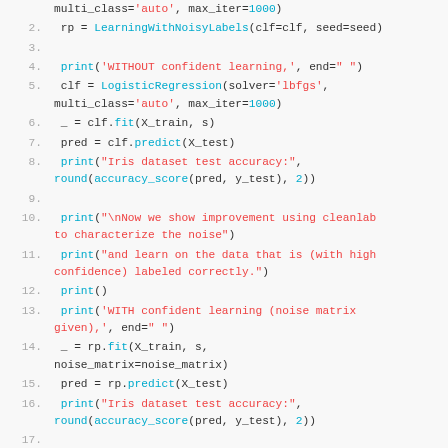[Figure (screenshot): Python code snippet showing machine learning code using cleanlab/LearningWithNoisyLabels, LogisticRegression, confident learning with noise matrix, and accuracy evaluation on the Iris dataset. Lines numbered 2-20.]